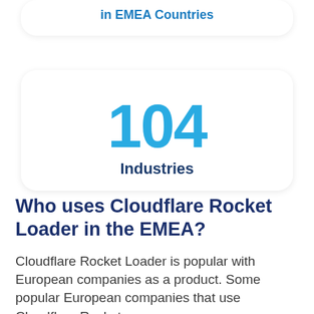in EMEA Countries
104
Industries
Who uses Cloudflare Rocket Loader in the EMEA?
Cloudflare Rocket Loader is popular with European companies as a product. Some popular European companies that use Cloudflare Rocket Loader are listed below with E